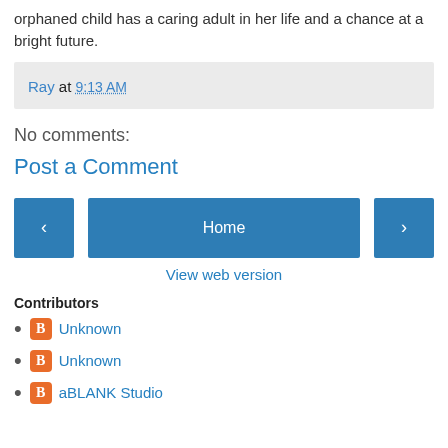orphaned child has a caring adult in her life and a chance at a bright future.
Ray at 9:13 AM
No comments:
Post a Comment
[Figure (infographic): Navigation bar with left arrow button, Home button, and right arrow button]
View web version
Contributors
Unknown
Unknown
aBLANK Studio